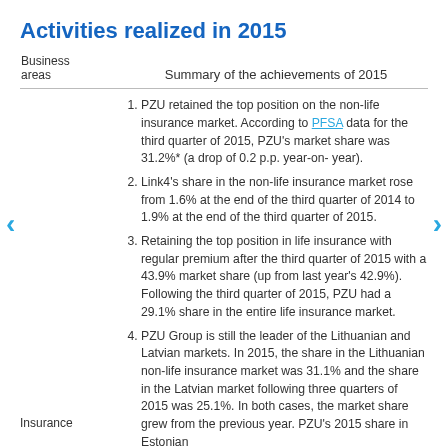Activities realized in 2015
| Business areas | Summary of the achievements of 2015 |
| --- | --- |
|  | 1. PZU retained the top position on the non-life insurance market. According to PFSA data for the third quarter of 2015, PZU's market share was 31.2%* (a drop of 0.2 p.p. year-on- year). |
|  | 2. Link4's share in the non-life insurance market rose from 1.6% at the end of the third quarter of 2014 to 1.9% at the end of the third quarter of 2015. |
|  | 3. Retaining the top position in life insurance with regular premium after the third quarter of 2015 with a 43.9% market share (up from last year's 42.9%). Following the third quarter of 2015, PZU had a 29.1% share in the entire life insurance market. |
|  | 4. PZU Group is still the leader of the Lithuanian and Latvian markets. In 2015, the share in the Lithuanian non-life insurance market was 31.1% and the share in the Latvian market following three quarters of 2015 was 25.1%. In both cases, the market share grew from the previous year. PZU's 2015 share in Estonian... |
| Insurance |  |